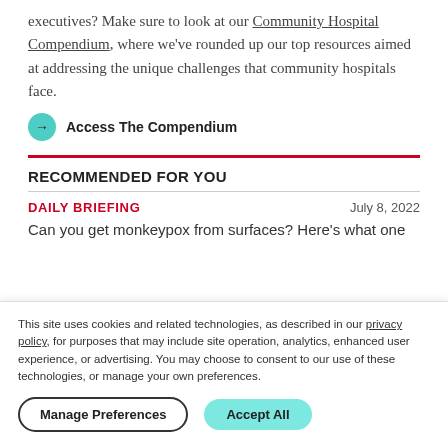executives? Make sure to look at our Community Hospital Compendium, where we've rounded up our top resources aimed at addressing the unique challenges that community hospitals face.
→ Access The Compendium
RECOMMENDED FOR YOU
DAILY BRIEFING   July 8, 2022
Can you get monkeypox from surfaces? Here's what one
This site uses cookies and related technologies, as described in our privacy policy, for purposes that may include site operation, analytics, enhanced user experience, or advertising. You may choose to consent to our use of these technologies, or manage your own preferences.